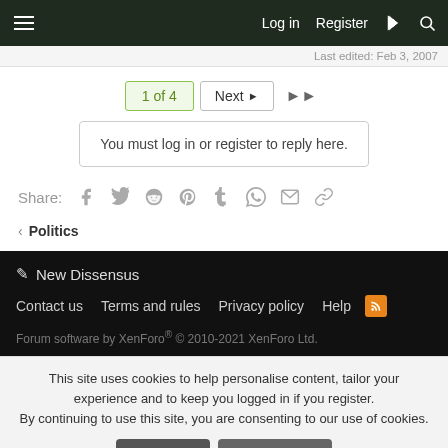Log in   Register
Last edited: Feb 3, 2007
1 of 4   Next   ▶▶
You must log in or register to reply here.
Share:
< Politics
New Dissensus
Contact us   Terms and rules   Privacy policy   Help
Forum software by XenForo® © 2010-2021 XenForo Ltd.
This site uses cookies to help personalise content, tailor your experience and to keep you logged in if you register.
By continuing to use this site, you are consenting to our use of cookies.
Accept   Learn more...